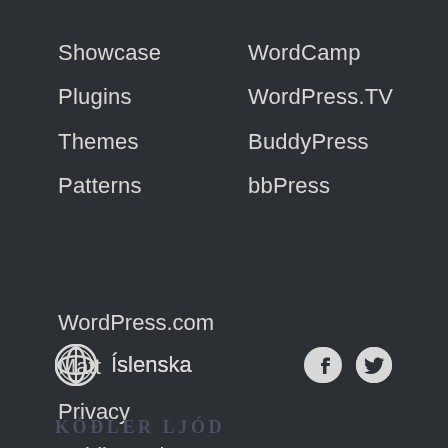Showcase
Plugins
Themes
Patterns
WordCamp
WordPress.TV
BuddyPress
bbPress
WordPress.com
Matt
Privacy
Public Code
Íslenska
KÓÐLER LJÓD